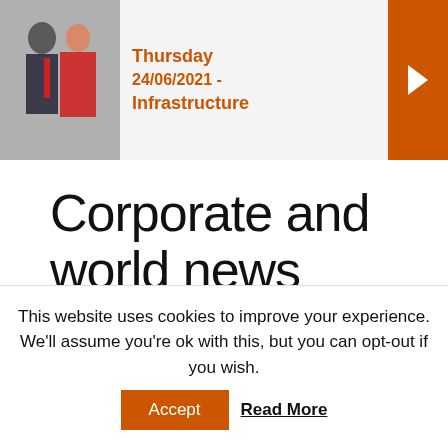[Figure (photo): Top banner with a photo of two people (man in suit, woman in red dress), orange text showing 'Thursday 24/06/2021 - Infrastructure', and an orange arrow button on the right.]
Corporate and world news
Amazon secures Champions League rights
This website uses cookies to improve your experience. We'll assume you're ok with this, but you can opt-out if you wish.